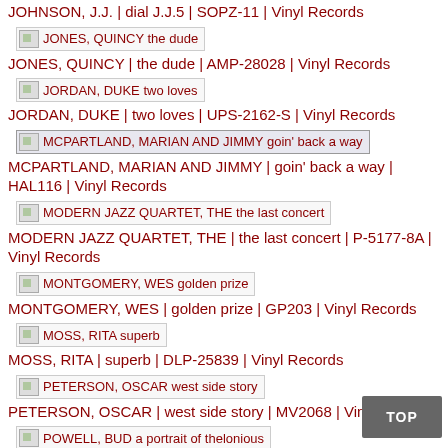JOHNSON, J.J. | dial J.J.5 | SOPZ-11 | Vinyl Records
[Figure (other): Thumbnail image for JONES, QUINCY the dude]
JONES, QUINCY | the dude | AMP-28028 | Vinyl Records
[Figure (other): Thumbnail image for JORDAN, DUKE two loves]
JORDAN, DUKE | two loves | UPS-2162-S | Vinyl Records
[Figure (other): Thumbnail image for MCPARTLAND, MARIAN AND JIMMY goin' back a way]
MCPARTLAND, MARIAN AND JIMMY | goin' back a way | HAL116 | Vinyl Records
[Figure (other): Thumbnail image for MODERN JAZZ QUARTET, THE the last concert]
MODERN JAZZ QUARTET, THE | the last concert | P-5177-8A | Vinyl Records
[Figure (other): Thumbnail image for MONTGOMERY, WES golden prize]
MONTGOMERY, WES | golden prize | GP203 | Vinyl Records
[Figure (other): Thumbnail image for MOSS, RITA superb]
MOSS, RITA | superb | DLP-25839 | Vinyl Records
[Figure (other): Thumbnail image for PETERSON, OSCAR west side story]
PETERSON, OSCAR | west side story | MV2068 | Vinyl Records
[Figure (other): Thumbnail image for POWELL, BUD a portrait of thelonious]
POWELL, BUD | a portrait of thelonious | SOPZ12 | Vinyl Records